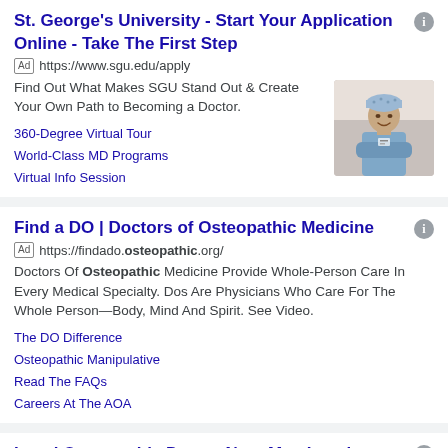St. George's University - Start Your Application Online - Take The First Step
Ad https://www.sgu.edu/apply
Find Out What Makes SGU Stand Out & Create Your Own Path to Becoming a Doctor.
360-Degree Virtual Tour
World-Class MD Programs
Virtual Info Session
[Figure (photo): Photo of a female doctor in blue scrubs and surgical cap with arms crossed, smiling in a hospital hallway]
Find a DO | Doctors of Osteopathic Medicine
Ad https://findado.osteopathic.org/
Doctors Of Osteopathic Medicine Provide Whole-Person Care In Every Medical Specialty. Dos Are Physicians Who Care For The Whole Person—Body, Mind And Spirit. See Video.
The DO Difference
Osteopathic Manipulative
Read The FAQs
Careers At The AOA
Local Osteopathic Doctor Near Me - Local Doctors Near You